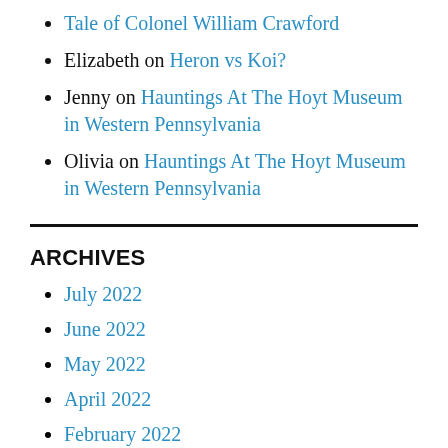Tale of Colonel William Crawford
Elizabeth on Heron vs Koi?
Jenny on Hauntings At The Hoyt Museum in Western Pennsylvania
Olivia on Hauntings At The Hoyt Museum in Western Pennsylvania
ARCHIVES
July 2022
June 2022
May 2022
April 2022
February 2022